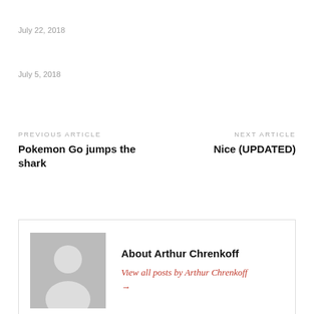July 22, 2018
July 5, 2018
PREVIOUS ARTICLE
Pokemon Go jumps the shark
NEXT ARTICLE
Nice (UPDATED)
[Figure (illustration): Author bio box with grey placeholder avatar silhouette, name 'About Arthur Chrenkoff', and link 'View all posts by Arthur Chrenkoff →']